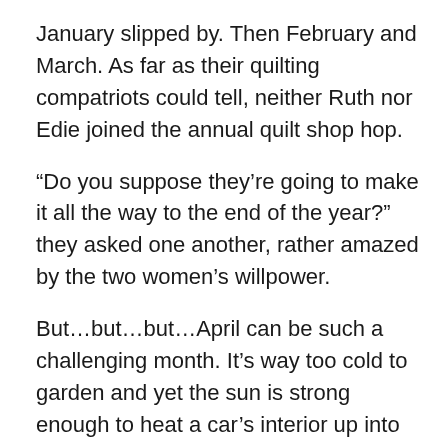January slipped by. Then February and March. As far as their quilting compatriots could tell, neither Ruth nor Edie joined the annual quilt shop hop.
“Do you suppose they’re going to make it all the way to the end of the year?” they asked one another, rather amazed by the two women’s willpower.
But…but…but…April can be such a challenging month. It’s way too cold to garden and yet the sun is strong enough to heat a car’s interior up into the uncomfortable range. In the hills where folks in Carding like to hike, frost is still coming up out of the ground, making the pathways a treacherous patchwork of deep puddles and slick, half-frozen mud.
And traveling by motor vehicle on anything but an interstate is a lot like driving a bouncy castle because of